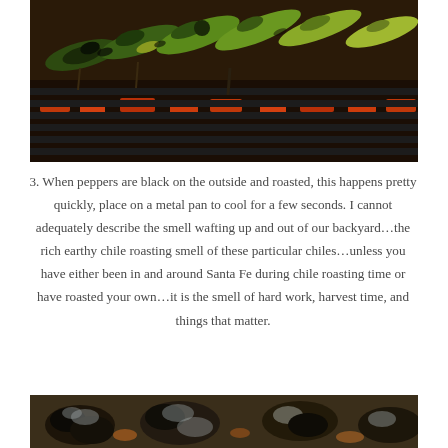[Figure (photo): Green and yellow chili peppers roasting on a black barbecue grill with glowing red coals visible beneath the grates. The peppers show char marks and blistering from the heat.]
3. When peppers are black on the outside and roasted, this happens pretty quickly, place on a metal pan to cool for a few seconds. I cannot adequately describe the smell wafting up and out of our backyard...the rich earthy chile roasting smell of these particular chiles...unless you have either been in and around Santa Fe during chile roasting time or have roasted your own...it is the smell of hard work, harvest time, and things that matter.
[Figure (photo): Blackened roasted chili peppers cooling on a metal pan, showing dark charred skin and some with silver/metallic sheen from the roasting process.]